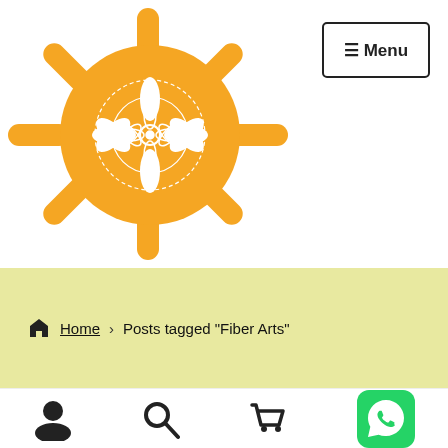[Figure (logo): Orange sun icon with mandala/flower pattern in the center circle, with rays extending outward, on white background]
[Figure (other): Menu button with hamburger lines icon, top right corner]
Home > Posts tagged “Fiber Arts”
[Figure (other): Bottom navigation bar with user/account icon, search icon, shopping cart icon, and WhatsApp button]